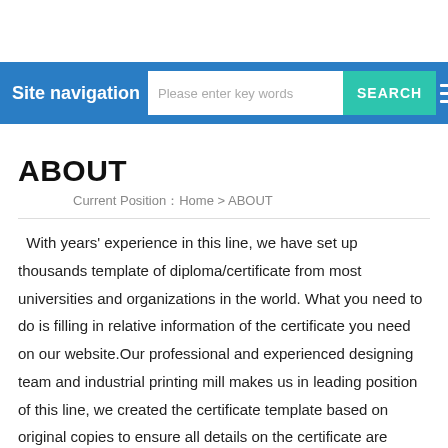Site navigation  [search bar]  SEARCH  [menu icon]
ABOUT
Current Position：Home > ABOUT
With years' experience in this line, we have set up thousands template of diploma/certificate from most universities and organizations in the world. What you need to do is filling in relative information of the certificate you need on our website.Our professional and experienced designing team and industrial printing mill makes us in leading position of this line, we created the certificate template based on original copies to ensure all details on the certificate are authentic look to original. The paper,